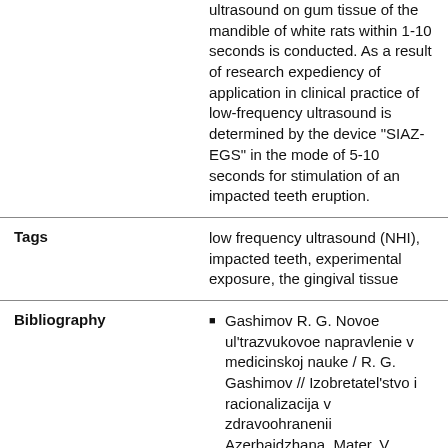ultrasound on gum tissue of the mandible of white rats within 1-10 seconds is conducted. As a result of research expediency of application in clinical practice of low-frequency ultrasound is determined by the device "SIAZ-EGS" in the mode of 5-10 seconds for stimulation of an impacted teeth eruption.
| Tags |  |
| --- | --- |
| Tags | low frequency ultrasound (NHI), impacted teeth, experimental exposure, the gingival tissue |
| Bibliography | Gashimov R. G. Novoe ul'trazvukovoe napravlenie v medicinskoj nauke / R. G. Gashimov // Izobretatel'stvo i racionalizacija v zdravoohranenii Azerbajdzhana. Mater. V nauch.-prakt. konferencii. -Baku, - 1994. - S. 22-24. | Gasanov I. A. Sravnitel'naja ocenka jeffektivnosti nekotoryh metodov gistohimicheskogo... |